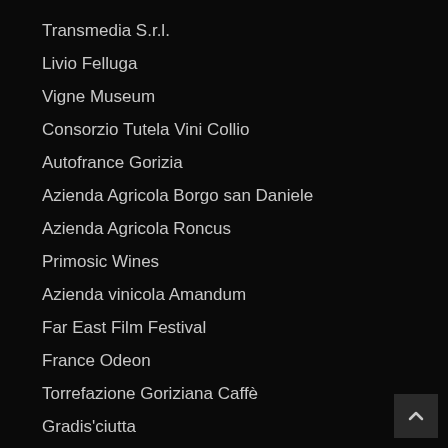Transmedia S.r.l.
Livio Felluga
Vigne Museum
Consorzio Tutela Vini Collio
Autofrance Gorizia
Azienda Agricola Borgo san Daniele
Azienda Agricola Roncus
Primosic Wines
Azienda vinicola Amandum
Far East Film Festival
France Odeon
Torrefazione Goriziana Caffè
Gradis'ciutta